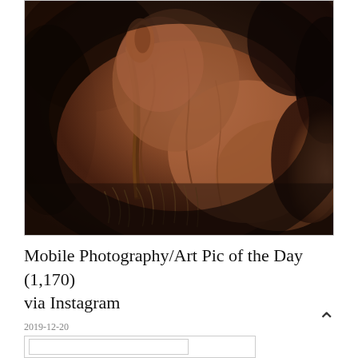[Figure (photo): Dark moody close-up photograph of what appears to be a weathered, textured organic subject — possibly bark, hide, or a natural figure — with earthy brown and red tones, dry grass/straw visible, cave-like or rustic dark background. High contrast, dramatic lighting.]
Mobile Photography/Art Pic of the Day (1,170) via Instagram
2019-12-20